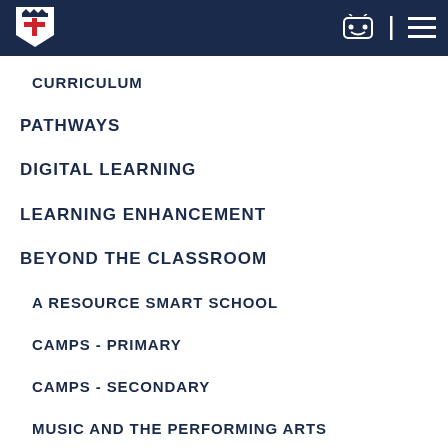[Figure (logo): Victory Christian College shield logo — white crown and V with red cross on dark navy background]
CURRICULUM
PATHWAYS
DIGITAL LEARNING
LEARNING ENHANCEMENT
BEYOND THE CLASSROOM
A RESOURCE SMART SCHOOL
CAMPS - PRIMARY
CAMPS - SECONDARY
MUSIC AND THE PERFORMING ARTS
INSTRUMENTAL TUITION